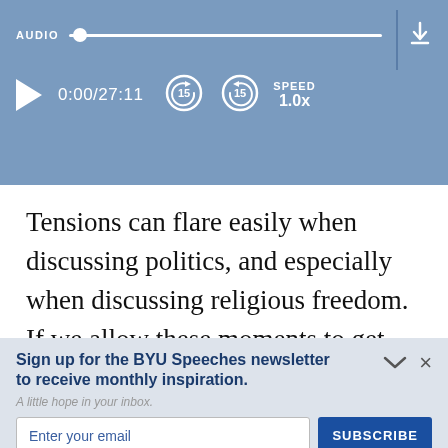[Figure (screenshot): Audio player bar with track slider, play button, time display 0:00/27:11, skip back 15 and skip forward 15 buttons, speed 1.0x, and download button]
Tensions can flare easily when discussing politics, and especially when discussing religious freedom. If we allow these moments to get the better of us, we will appear ver unchristian to our family, friends, neighbors,
Sign up for the BYU Speeches newsletter to receive monthly inspiration.
A little hope in your inbox.
Enter your email
SUBSCRIBE